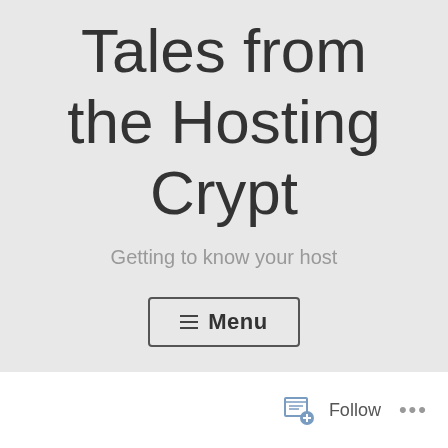Tales from the Hosting Crypt
Getting to know your host
≡ Menu
Follow ...